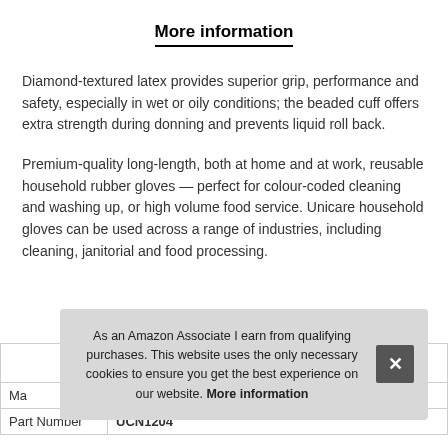More information
Diamond-textured latex provides superior grip, performance and safety, especially in wet or oily conditions; the beaded cuff offers extra strength during donning and prevents liquid roll back.
Premium-quality long-length, both at home and at work, reusable household rubber gloves — perfect for colour-coded cleaning and washing up, or high volume food service. Unicare household gloves can be used across a range of industries, including cleaning, janitorial and food processing.
| Ma |  |
| Part Number | UCN1204 |
As an Amazon Associate I earn from qualifying purchases. This website uses the only necessary cookies to ensure you get the best experience on our website. More information